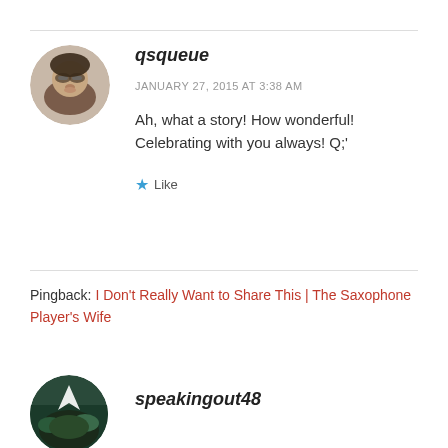[Figure (photo): Circular avatar of a woman with glasses]
qsqueue
JANUARY 27, 2015 AT 3:38 AM
Ah, what a story! How wonderful! Celebrating with you always! Q;
★ Like
Pingback: I Don't Really Want to Share This | The Saxophone Player's Wife
[Figure (photo): Circular avatar with nature/bird scene]
speakingout48